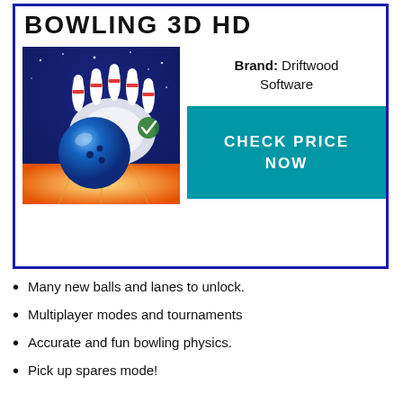BOWLING 3D HD
[Figure (illustration): Bowling game app icon showing a blue bowling ball striking white and red-striped bowling pins on a golden lane with a dark blue starry background. A green checkmark is visible.]
Brand: Driftwood Software
CHECK PRICE NOW
Many new balls and lanes to unlock.
Multiplayer modes and tournaments
Accurate and fun bowling physics.
Pick up spares mode!